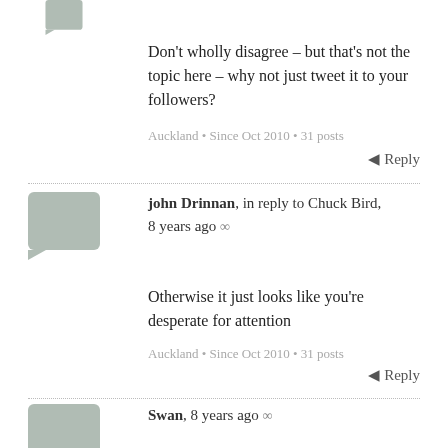[Figure (illustration): Gray speech bubble avatar icon for a commenter, partially visible at top]
Don't wholly disagree – but that's not the topic here – why not just tweet it to your followers?
Auckland • Since Oct 2010 • 31 posts
Reply
[Figure (illustration): Gray speech bubble avatar icon for john Drinnan]
john Drinnan, in reply to Chuck Bird, 8 years ago ∞
Otherwise it just looks like you're desperate for attention
Auckland • Since Oct 2010 • 31 posts
Reply
[Figure (illustration): Gray speech bubble avatar icon for Swan]
Swan, 8 years ago ∞
I think there is a fair bit of missing the point here. Graeme has explained why he is agin advertising boycotts in principle. He has then rambled on a bit